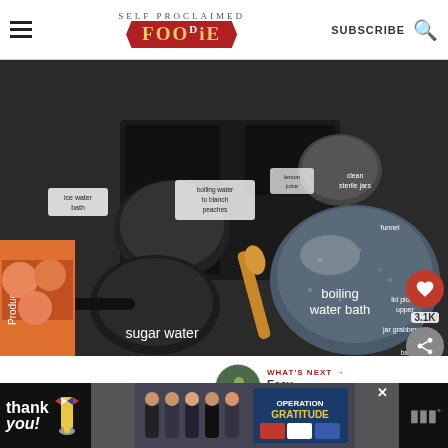SELF PROCLAIMED FOODIE — SUBSCRIBE
[Figure (photo): Overhead flat-lay photo of canning equipment on a stovetop with labeled annotations: ice water bath, boiling water to blanch peaches, lemon juice, clean sterile jars, funnel, lid picker upper, jar grabber, dirty cheap cooktop that needs to be upgraded, lids & rings, basket for jars inside water bath, sugar water, boiling water bath, BG box of organic peaches. Social engagement icons show heart (3.1K) and share button.]
WHAT'S NEXT → Easy Refrigerator...
How To Can Peaches:
[Figure (photo): Advertisement banner with dark background: Thank you text with American flag pencil graphic and Operation Gratitude logo showing firefighters group photo. Close button X visible.]